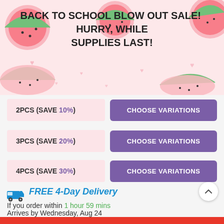BACK TO SCHOOL BLOW OUT SALE!  HURRY, WHILE SUPPLIES LAST!
[Figure (illustration): Pink banner background with watermelon slice illustrations and pink heart decorations]
2PCS (SAVE 10%) - CHOOSE VARIATIONS
3PCS (SAVE 20%) - CHOOSE VARIATIONS
4PCS (SAVE 30%) - CHOOSE VARIATIONS
[Figure (illustration): Blue delivery truck icon]
FREE 4-Day Delivery
If you order within 1 hour 59 mins
Arrives by Wednesday, Aug 24
Quantity: 1